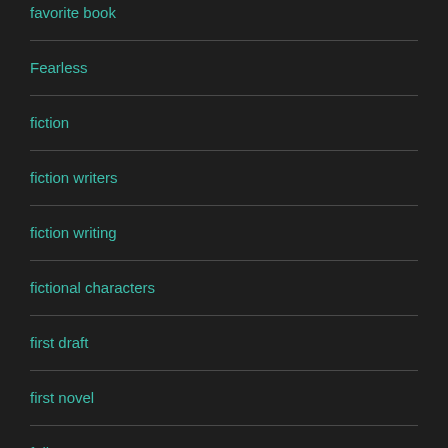favorite book
Fearless
fiction
fiction writers
fiction writing
fictional characters
first draft
first novel
followers